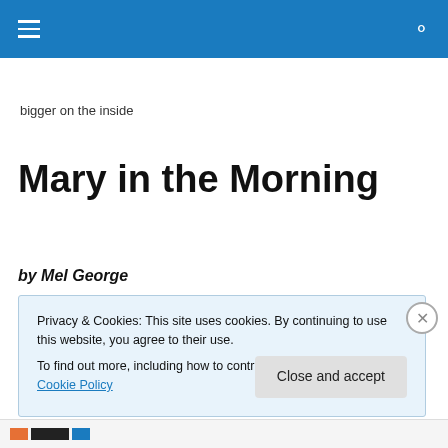bigger on the inside
Mary in the Morning
by Mel George
Privacy & Cookies: This site uses cookies. By continuing to use this website, you agree to their use.
To find out more, including how to control cookies, see here: Cookie Policy
Close and accept